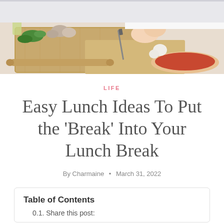[Figure (photo): Person chopping vegetables on a wooden cutting board in a kitchen, with mushrooms, herbs, a rolling pin, and a pizza with tomato sauce visible on the counter]
LIFE
Easy Lunch Ideas To Put the ‘Break’ Into Your Lunch Break
By Charmaine • March 31, 2022
Table of Contents
0.1. Share this post: